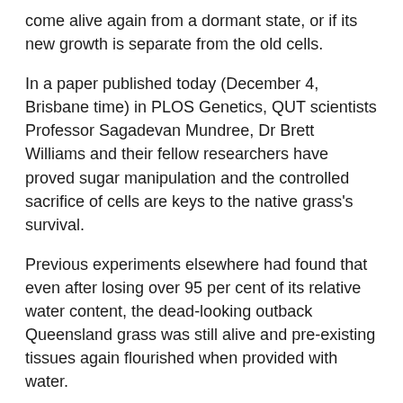come alive again from a dormant state, or if its new growth is separate from the old cells.
In a paper published today (December 4, Brisbane time) in PLOS Genetics, QUT scientists Professor Sagadevan Mundree, Dr Brett Williams and their fellow researchers have proved sugar manipulation and the controlled sacrifice of cells are keys to the native grass's survival.
Previous experiments elsewhere had found that even after losing over 95 per cent of its relative water content, the dead-looking outback Queensland grass was still alive and pre-existing tissues again flourished when provided with water.
They found the grass (when hit by drought stress) accumulate trehalose (a non-reducing sugar found in plants) which it then used to trigger autophagy – a process which allows the orderly degradation and recycling of plant cells.
Professor Mundree said autophagy was primarily a